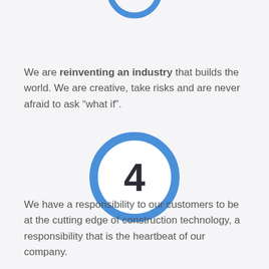[Figure (illustration): Partial blue circle (ring) visible at top of page, showing bottom half of a circular outline in blue]
We are reinventing an industry that builds the world. We are creative, take risks and are never afraid to ask “what if”.
[Figure (illustration): Blue circle ring with the number 4 in dark bold font centered inside it]
We have a responsibility to our customers to be at the cutting edge of construction technology, a responsibility that is the heartbeat of our company.